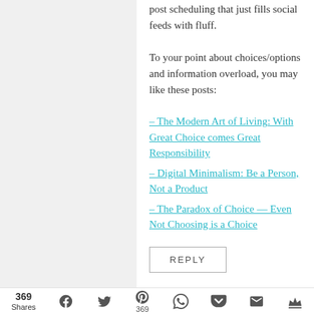post scheduling that just fills social feeds with fluff.
To your point about choices/options and information overload, you may like these posts:
– The Modern Art of Living: With Great Choice comes Great Responsibility
– Digital Minimalism: Be a Person, Not a Product
– The Paradox of Choice — Even Not Choosing is a Choice
REPLY
369 Shares